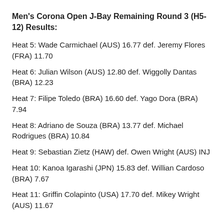Men's Corona Open J-Bay Remaining Round 3 (H5-12) Results:
Heat 5: Wade Carmichael (AUS) 16.77 def. Jeremy Flores (FRA) 11.70
Heat 6: Julian Wilson (AUS) 12.80 def. Wiggolly Dantas (BRA) 12.23
Heat 7: Filipe Toledo (BRA) 16.60 def. Yago Dora (BRA) 7.94
Heat 8: Adriano de Souza (BRA) 13.77 def. Michael Rodrigues (BRA) 10.84
Heat 9: Sebastian Zietz (HAW) def. Owen Wright (AUS) INJ
Heat 10: Kanoa Igarashi (JPN) 15.83 def. Willian Cardoso (BRA) 7.67
Heat 11: Griffin Colapinto (USA) 17.70 def. Mikey Wright (AUS) 11.67